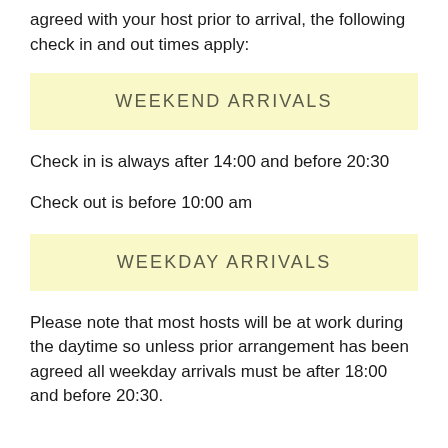agreed with your host prior to arrival, the following check in and out times apply:
WEEKEND ARRIVALS
Check in is always after 14:00 and before 20:30
Check out is before 10:00 am
WEEKDAY ARRIVALS
Please note that most hosts will be at work during the daytime so unless prior arrangement has been agreed all weekday arrivals must be after 18:00 and before 20:30.